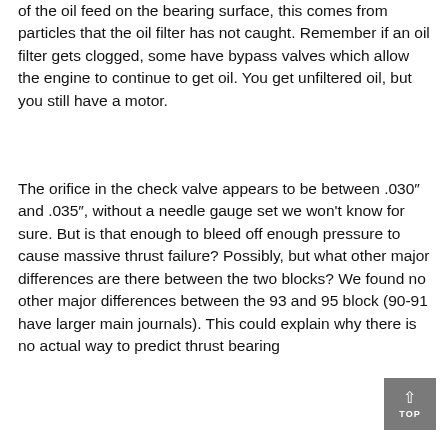of the oil feed on the bearing surface, this comes from particles that the oil filter has not caught. Remember if an oil filter gets clogged, some have bypass valves which allow the engine to continue to get oil. You get unfiltered oil, but you still have a motor.
The orifice in the check valve appears to be between .030″ and .035″, without a needle gauge set we won't know for sure. But is that enough to bleed off enough pressure to cause massive thrust failure? Possibly, but what other major differences are there between the two blocks? We found no other major differences between the 93 and 95 block (90-91 have larger main journals). This could explain why there is no actual way to predict thrust bearing